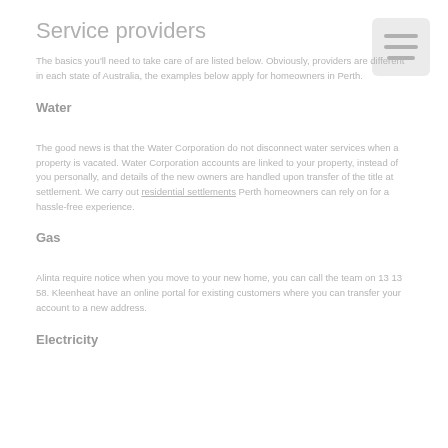Service providers
The basics you'll need to take care of are listed below. Obviously, providers are different in each state of Australia, the examples below apply for homeowners in Perth.
Water
The good news is that the Water Corporation do not disconnect water services when a property is vacated. Water Corporation accounts are linked to your property, instead of you personally, and details of the new owners are handled upon transfer of the title at settlement. We carry out residential settlements Perth homeowners can rely on for a hassle-free experience.
Gas
Alinta require notice when you move to your new home, you can call the team on 13 13 58. Kleenheat have an online portal for existing customers where you can transfer your account to a new address.
Electricity